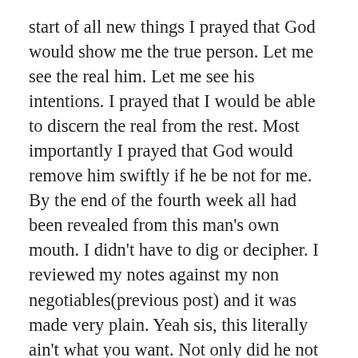start of all new things I prayed that God would show me the true person. Let me see the real him. Let me see his intentions. I prayed that I would be able to discern the real from the rest. Most importantly I prayed that God would remove him swiftly if he be not for me. By the end of the fourth week all had been revealed from this man's own mouth. I didn't have to dig or decipher. I reviewed my notes against my non negotiables(previous post) and it was made very plain. Yeah sis, this literally ain't what you want. Not only did he not line up with what I wanted, but by the time I finished my review I realized that I had been ignoring all of the actual forewarnings that were right in front of my face.
I had to debrief with a friend...or three...or five. Whatever. I hold small press conferences. Fight